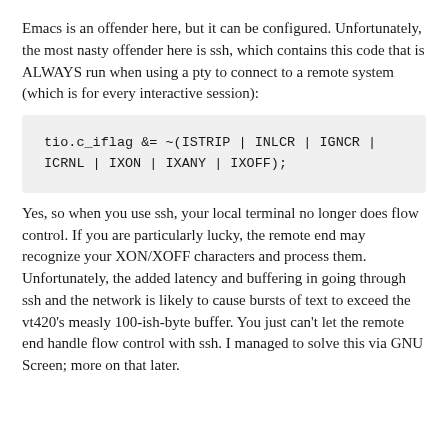Emacs is an offender here, but it can be configured. Unfortunately, the most nasty offender here is ssh, which contains this code that is ALWAYS run when using a pty to connect to a remote system (which is for every interactive session):
Yes, so when you use ssh, your local terminal no longer does flow control. If you are particularly lucky, the remote end may recognize your XON/XOFF characters and process them. Unfortunately, the added latency and buffering in going through ssh and the network is likely to cause bursts of text to exceed the vt420's measly 100-ish-byte buffer. You just can't let the remote end handle flow control with ssh. I managed to solve this via GNU Screen; more on that later.